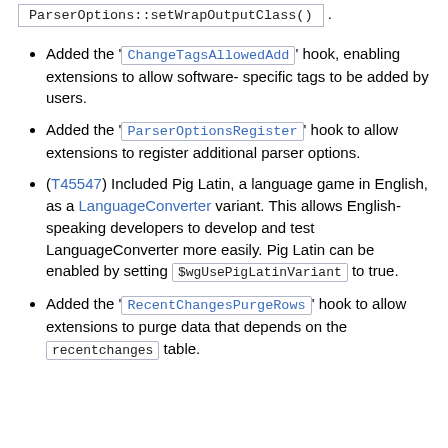ParserOptions::setWrapOutputClass() .
Added the 'ChangeTagsAllowedAdd' hook, enabling extensions to allow software-specific tags to be added by users.
Added the 'ParserOptionsRegister' hook to allow extensions to register additional parser options.
(T45547) Included Pig Latin, a language game in English, as a LanguageConverter variant. This allows English-speaking developers to develop and test LanguageConverter more easily. Pig Latin can be enabled by setting $wgUsePigLatinVariant to true.
Added the 'RecentChangesPurgeRows' hook to allow extensions to purge data that depends on the recentchanges table.